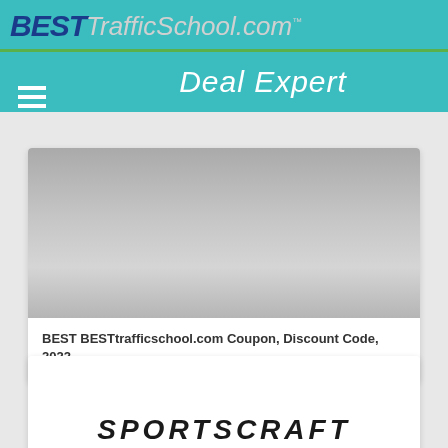BESTTrafficSchool.com Deal Expert
[Figure (screenshot): Gray placeholder image area inside a white card]
BEST BESTtrafficschool.com Coupon, Discount Code, 2022
[Figure (screenshot): Partial logo/text reading SPORTSCRAFT at bottom of second card]